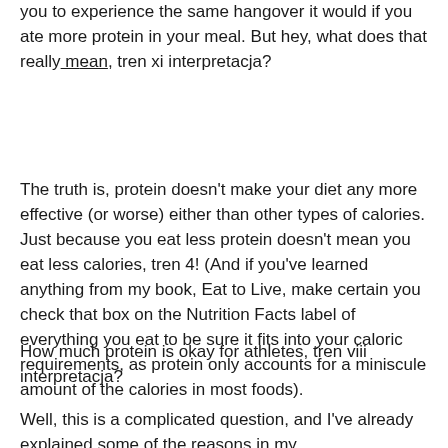you to experience the same hangover it would if you ate more protein in your meal. But hey, what does that really mean, tren xi interpretacja?
The truth is, protein doesn't make your diet any more effective (or worse) either than other types of calories. Just because you eat less protein doesn't mean you eat less calories, tren 4! (And if you've learned anything from my book, Eat to Live, make certain you check that box on the Nutrition Facts label of everything you eat to be sure it fits into your caloric requirements, as protein only accounts for a miniscule amount of the calories in most foods).
How much protein is okay for athletes, tren viii interpretacja?
Well, this is a complicated question, and I've already explained some of the reasons in my